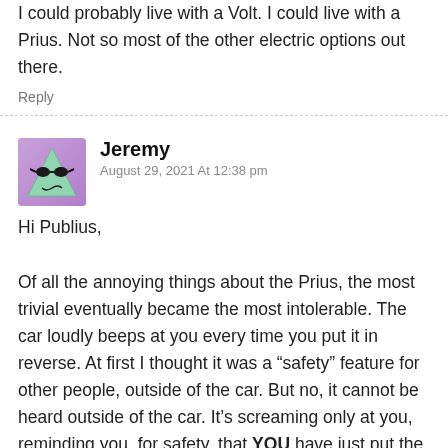I could probably live with a Volt. I could live with a Prius. Not so most of the other electric options out there.
Reply
Jeremy
August 29, 2021 At 12:38 pm
Hi Publius,

Of all the annoying things about the Prius, the most trivial eventually became the most intolerable. The car loudly beeps at you every time you put it in reverse. At first I thought it was a “safety” feature for other people, outside of the car. But no, it cannot be heard outside of the car. It’s screaming only at you, reminding you, for safety, that YOU have just put the car in reverse.